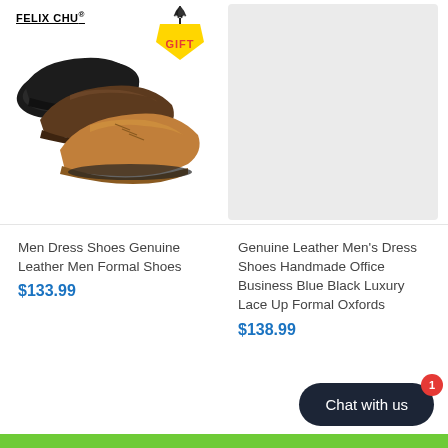[Figure (photo): Three men's dress shoes in black, dark brown, and tan/cognac colors arranged overlapping, with a FELIX CHU brand logo top left and a yellow GIFT badge top right showing shoelaces]
[Figure (photo): Light gray placeholder rectangle for second product image (Genuine Leather Men's Dress Shoes)]
Men Dress Shoes Genuine Leather Men Formal Shoes
$133.99
Genuine Leather Men's Dress Shoes Handmade Office Business Blue Black Luxury Lace Up Formal Oxfords
$138.99
Chat with us